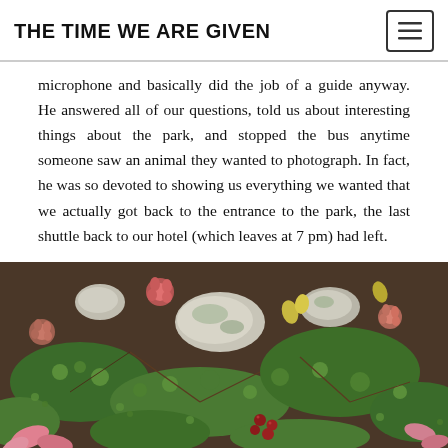THE TIME WE ARE GIVEN
microphone and basically did the job of a guide anyway. He answered all of our questions, told us about interesting things about the park, and stopped the bus anytime someone saw an animal they wanted to photograph. In fact, he was so devoted to showing us everything we wanted that we actually got back to the entrance to the park, the last shuttle back to our hotel (which leaves at 7 pm) had left.
[Figure (photo): Close-up ground-level photo of tundra vegetation including small green mosses, red and pink berries, small succulent-like plants, lichen-covered rocks, and colorful low-growing foliage.]